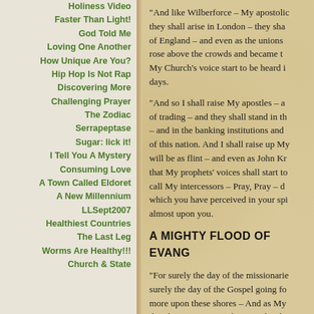Holiness Video
Faster Than Light!
God Told Me
Loving One Another
How Unique Are You?
Hip Hop Is Not Rap
Discovering More
Challenging Prayer
The Zodiac
Serrapeptase
Sugar: lick it!
I Tell You A Mystery
Consuming Love
A Town Called Eldoret
A New Millennium
LLSept2007
Healthiest Countries
The Last Leg
Worms Are Healthy!!!
Church & State
"And like Wilberforce – My apostolic they shall arise in London – they sha of England – and even as the unions rose above the crowds and became t My Church's voice start to be heard i days.
"And so I shall raise My apostles – a of trading – and they shall stand in th – and in the banking institutions and of this nation. And I shall raise up My will be as flint – and even as John Kr that My prophets' voices shall start to call My intercessors – Pray, Pray – d which you have perceived in your spi almost upon you.
A MIGHTY FLOOD OF EVANG
"For surely the day of the missionarie surely the day of the Gospel going fo more upon these shores – And as My that the men, women, boys, and girls travel to the continents of the earth